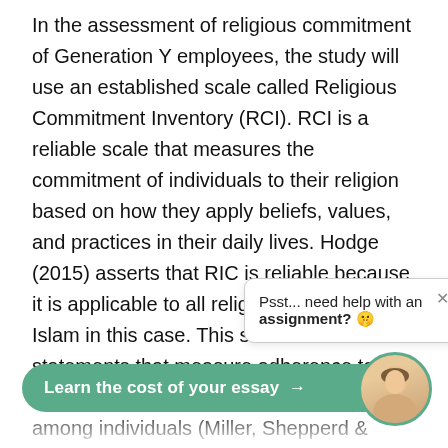In the assessment of religious commitment of Generation Y employees, the study will use an established scale called Religious Commitment Inventory (RCI). RCI is a reliable scale that measures the commitment of individuals to their religion based on how they apply beliefs, values, and practices in their daily lives. Hodge (2015) asserts that RIC is reliable because it is applicable to all religions, including Islam in this case. This scale has 10 Likert statements that measure adherence to beliefs, values, and practices of religion among individuals (Miller, Shepperd & McCullough 2013; Alaedein-Zawawi 2015). The rating of each stateme ranging from 1 to 5 where totally true (Ajibade et al. 2015). In this view, the study will use RCI in assessing the work commitment of Gene values, and practices. In the measuring of commitment of emplo...
[Figure (other): Popup overlay with text 'Psst... need help with an assignment? 🤫' and a close (×) button]
[Figure (other): Green CTA button reading 'Learn the cost of your essay →' with a circular avatar photo of a woman]